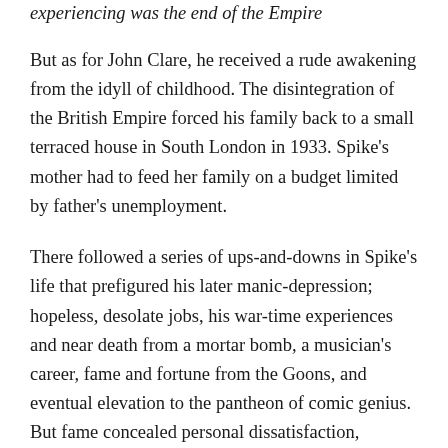experiencing was the end of the Empire
But as for John Clare, he received a rude awakening from the idyll of childhood. The disintegration of the British Empire forced his family back to a small terraced house in South London in 1933. Spike's mother had to feed her family on a budget limited by father's unemployment.
There followed a series of ups-and-downs in Spike's life that prefigured his later manic-depression; hopeless, desolate jobs, his war-time experiences and near death from a mortar bomb, a musician's career, fame and fortune from the Goons, and eventual elevation to the pantheon of comic genius. But fame concealed personal dissatisfaction, including his first mental breakdown and the death of his second wife. Spike had lived with the effects of Manic Depression since he was wounded during World War II, but as he once said in "The Spike...